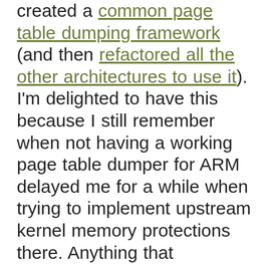created a common page table dumping framework (and then refactored all the other architectures to use it). I'm delighted to have this because I still remember when not having a working page table dumper for ARM delayed me for a while when trying to implement upstream kernel memory protections there. Anything that